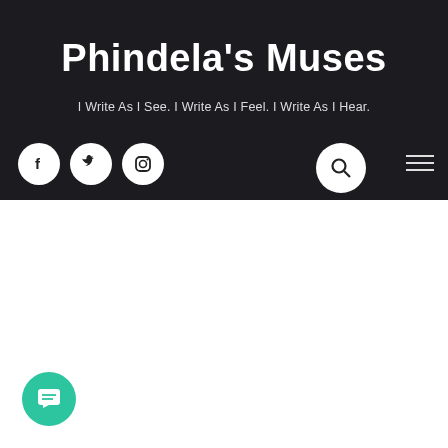[Figure (screenshot): Website header with dark background showing blog site header image (dark, blurred background)]
Phindela’s Muses
I Write As I See. I Write As I Feel. I Write As I Hear.
[Figure (illustration): Social media icons: Facebook, Twitter, Instagram circles in white on dark header, plus search magnifier circle and hamburger menu icon]
[Figure (illustration): Chat/message floating button in teal/green at bottom left corner]